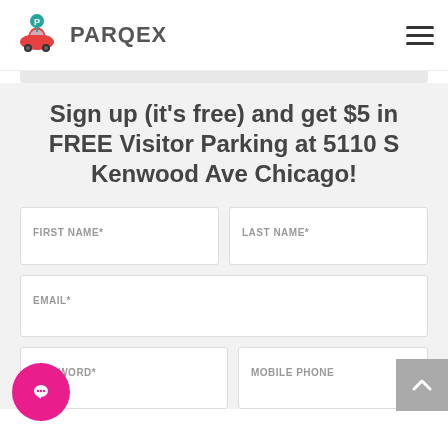PARQEX
Sign up (it's free) and get $5 in FREE Visitor Parking at 5110 S Kenwood Ave Chicago!
FIRST NAME*
LAST NAME*
EMAIL*
SWORD*
MOBILE PHONE